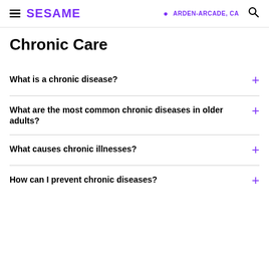SESAME | ARDEN-ARCADE, CA
Chronic Care
What is a chronic disease?
What are the most common chronic diseases in older adults?
What causes chronic illnesses?
How can I prevent chronic diseases?